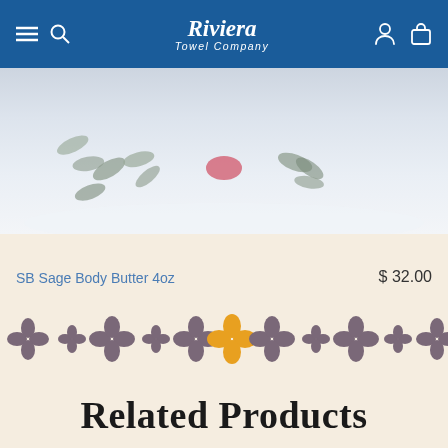[Figure (screenshot): Riviera Towel Company website navigation bar with hamburger menu, search icon, logo, user icon, and bag icon on blue background]
[Figure (photo): Product photo showing a snowy botanical/winter scene with pine or herb sprigs and a pink/red element on white background]
SB Sage Body Butter 4oz
$ 32.00
[Figure (illustration): Decorative divider pattern of repeating flower/cross motifs in purple-grey color with one golden/orange flower in the center]
Related Products